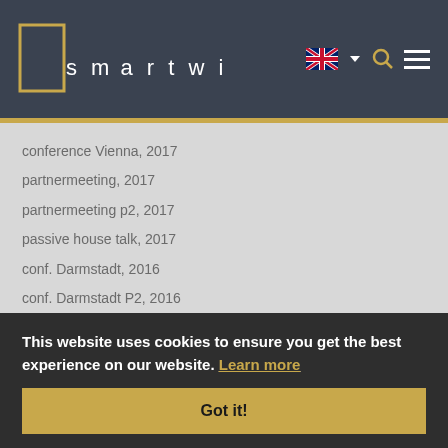smartwin
conference Vienna, 2017
partnermeeting, 2017
partnermeeting p2, 2017
passive house talk, 2017
conf. Darmstadt, 2016
conf. Darmstadt P2, 2016
partnermeeting, 2015
Events
Contact
This website uses cookies to ensure you get the best experience on our website. Learn more
Got it!